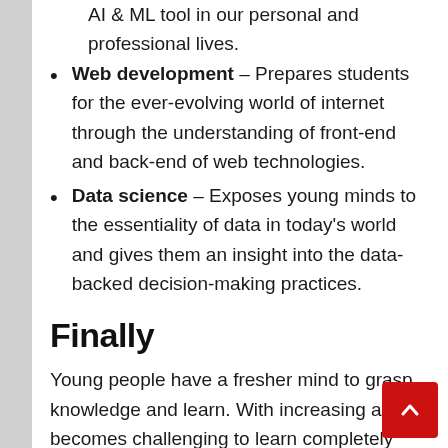AI & ML tool in our personal and professional lives.
Web development – Prepares students for the ever-evolving world of internet through the understanding of front-end and back-end of web technologies.
Data science – Exposes young minds to the essentiality of data in today's world and gives them an insight into the data-backed decision-making practices.
Finally
Young people have a fresher mind to grasp knowledge and learn. With increasing age, it becomes challenging to learn completely new skills. So, join LEAPWATERS courses and start